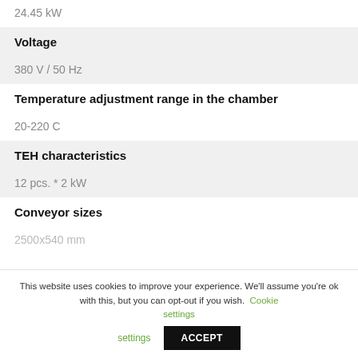24.45 kW
Voltage
380 V / 50 Hz
Temperature adjustment range in the chamber
20-220 C
TEH characteristics
12 pcs. * 2 kW
Conveyor sizes
2500x540 mm
This website uses cookies to improve your experience. We'll assume you're ok with this, but you can opt-out if you wish. Cookie settings ACCEPT